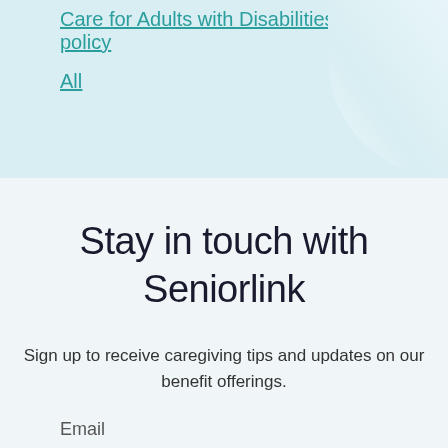Care for Adults with Disabilities policy
All
Stay in touch with Seniorlink
Sign up to receive caregiving tips and updates on our benefit offerings.
Email